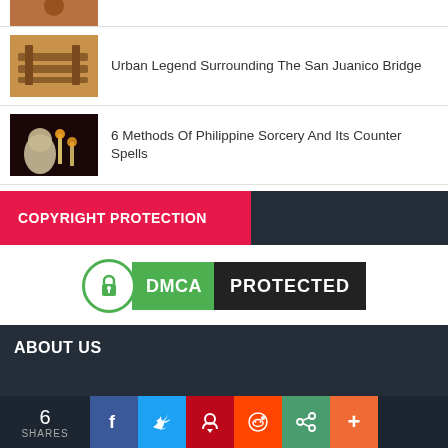[Figure (photo): Partial thumbnail image at top, partially cropped]
Urban Legend Surrounding The San Juanico Bridge
[Figure (photo): Thumbnail of wooden bridge structure in warm tones]
6 Methods Of Philippine Sorcery And Its Counter Spells
[Figure (photo): Thumbnail of skull and candles, dark sorcery theme]
COPYRIGHT PROTECTION
[Figure (logo): DMCA PROTECTED badge with green lock circle]
ABOUT US
6 SHARES with social share buttons: Facebook, Twitter, Pinterest, Reddit, Link, Plus